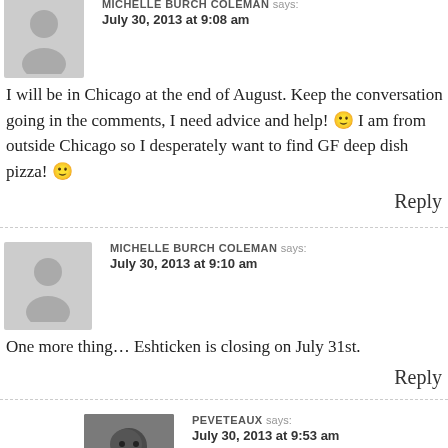MICHELLE BURCH COLEMAN says: July 30, 2013 at 9:08 am
I will be in Chicago at the end of August. Keep the conversation going in the comments, I need advice and help! 🙂 I am from outside Chicago so I desperately want to find GF deep dish pizza! 🙂
Reply
MICHELLE BURCH COLEMAN says: July 30, 2013 at 9:10 am
One more thing… Eshticken is closing on July 31st.
Reply
PEVETEAUX says: July 30, 2013 at 9:53 am